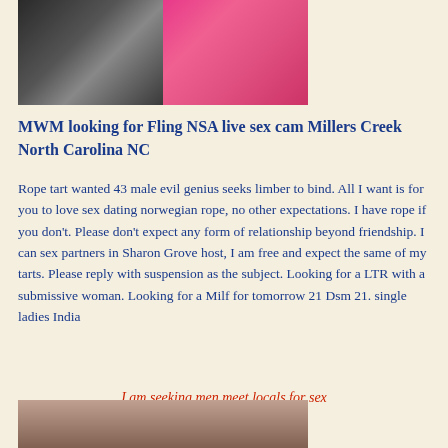[Figure (photo): Two women photos side by side, left in dark outfit, right in pink/colorful outfit lying down]
MWM looking for Fling NSA live sex cam Millers Creek North Carolina NC
Rope tart wanted 43 male evil genius seeks limber to bind. All I want is for you to love sex dating norwegian rope, no other expectations. I have rope if you don't. Please don't expect any form of relationship beyond friendship. I can sex partners in Sharon Grove host, I am free and expect the same of my tarts. Please reply with suspension as the subject. Looking for a LTR with a submissive woman. Looking for a Milf for tomorrow 21 Dsm 21. single ladies India
I am seeking men meet locals for sex
[Figure (photo): Woman photo at bottom of page]